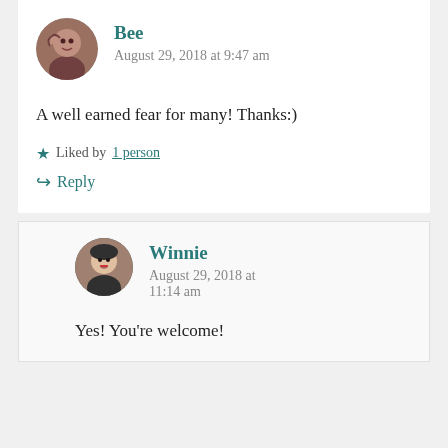[Figure (photo): Circular avatar photo of user Bee]
Bee
August 29, 2018 at 9:47 am
A well earned fear for many! Thanks:)
Liked by 1 person
Reply
[Figure (photo): Circular avatar photo of user Winnie]
Winnie
August 29, 2018 at 11:14 am
Yes! You're welcome!